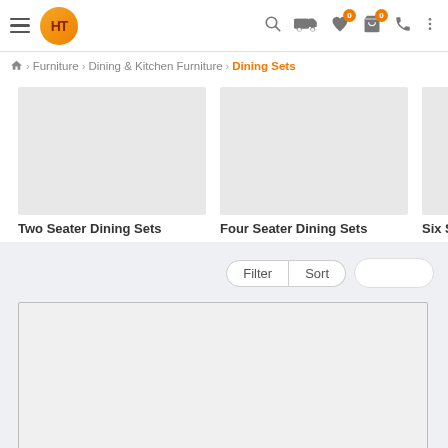HT logo, hamburger menu, search, delivery, wishlist (0), cart (0), phone, more
Home > Furniture > Dining & Kitchen Furniture > Dining Sets
[Figure (photo): Category thumbnail for Two Seater Dining Sets (empty grey placeholder)]
Two Seater Dining Sets
[Figure (photo): Category thumbnail for Four Seater Dining Sets (empty grey placeholder)]
Four Seater Dining Sets
[Figure (photo): Category thumbnail for Six Seater Dining Sets (empty grey placeholder, partially visible)]
Six Seater D…
Filter | Sort
[Figure (photo): Product card placeholder image (large grey box)]